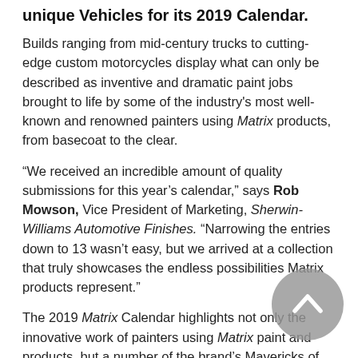unique Vehicles for its 2019 Calendar.
Builds ranging from mid-century trucks to cutting-edge custom motorcycles display what can only be described as inventive and dramatic paint jobs brought to life by some of the industry's most well-known and renowned painters using Matrix products, from basecoat to the clear.
“We received an incredible amount of quality submissions for this year’s calendar,” says Rob Mowson, Vice President of Marketing, Sherwin-Williams Automotive Finishes. “Narrowing the entries down to 13 wasn’t easy, but we arrived at a collection that truly showcases the endless possibilities Matrix products represent.”
The 2019 Matrix Calendar highlights not only the innovative work of painters using Matrix paint and products, but a number of the brand’s Mavericks of Color—a distinction awarded annually to painters in the collision repair environment and custom world who demonstrate a continued commitment to pushing the envelope of creativity and passion.